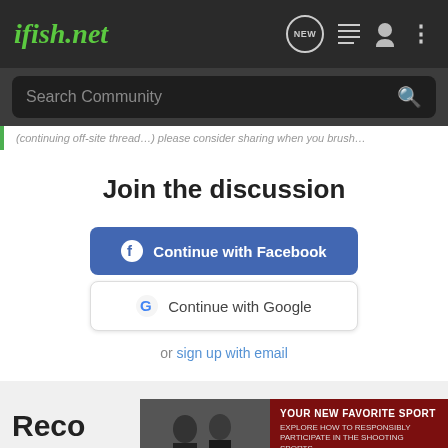ifish.net
Search Community
(partial forum thread text strip)
Join the discussion
Continue with Facebook
Continue with Google
or sign up with email
Reco
[Figure (screenshot): Advertisement banner: YOUR NEW FAVORITE SPORT - EXPLORE HOW TO RESPONSIBLY PARTICIPATE IN THE SHOOTING SPORTS. START HERE! with photo of people at shooting range.]